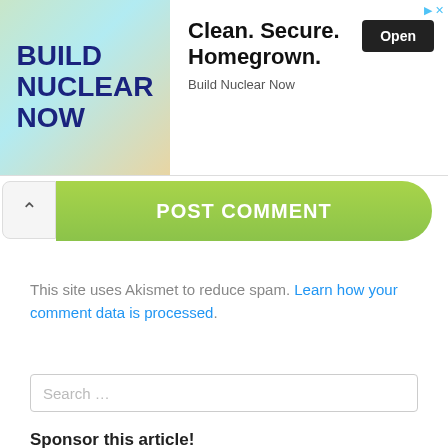[Figure (screenshot): Advertisement banner for 'Build Nuclear Now' — left side shows green/teal illustrated background with bold dark blue text 'BUILD NUCLEAR NOW'; right side shows 'Clean. Secure. Homegrown.' headline, 'Build Nuclear Now' brand name, and a dark 'Open' button.]
POST COMMENT
This site uses Akismet to reduce spam. Learn how your comment data is processed.
Search ...
Sponsor this article!
More great articles/no distracting ads? Sign me up! Just $1.00, with daily blog posts! So far, 100 articles